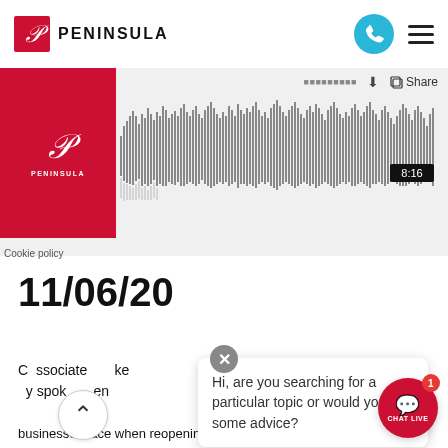PENINSULA
[Figure (screenshot): Audio player with waveform visualization showing a podcast or audio recording. Duration shown as 8:16. Peninsula logo on red background on left side. Download and Share icons at top right.]
Cookie policy
11/06/20
C...ssociate...ke... ...y spok...en...
businesses face when reopening, how employers
Hi, are you searching for a particular topic or would you like some advice?